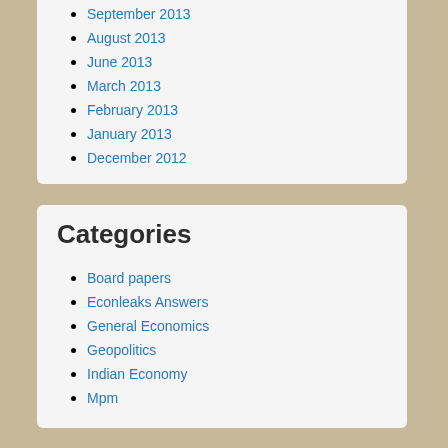September 2013
August 2013
June 2013
March 2013
February 2013
January 2013
December 2012
Categories
Board papers
Econleaks Answers
General Economics
Geopolitics
Indian Economy
Mpm